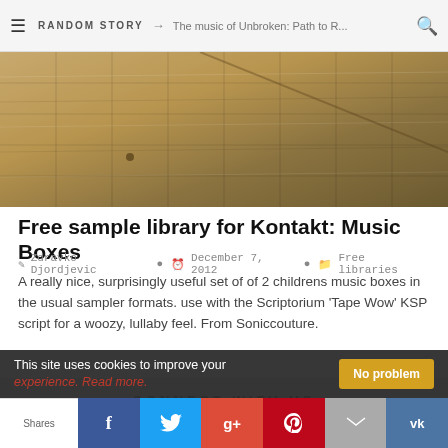RANDOM STORY → The music of Unbroken: Path to R...
[Figure (photo): Close-up photo of a wooden surface with grid lines resembling sheet music or a music box mechanism, warm tan/brown tones]
Free sample library for Kontakt: Music Boxes
✎ Zdravko Djordjevic  🕐 December 7, 2012  📁 Free libraries
A really nice, surprisingly useful set of of 2 childrens music boxes in the usual sampler formats. use with the Scriptorium 'Tape Wow' KSP script for a woozy, lullaby feel. From Soniccouture.
CONNECT WITH US
This site uses cookies to improve your experience. Read more.
Shares